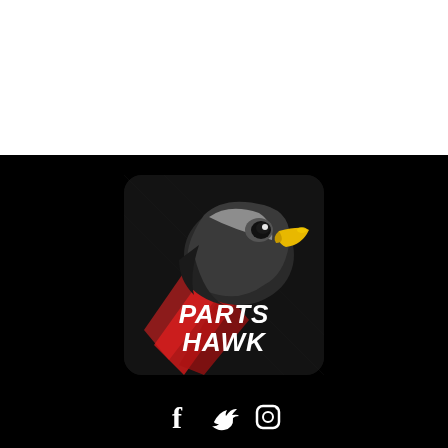[Figure (logo): Parts Hawk logo: a hawk/eagle mascot with yellow beak, dark feathers, on a dark textured square background with red accents, and bold white text reading PARTS HAWK]
[Figure (other): Social media icons row: Facebook (f), Twitter (bird), Instagram (camera circle) in white on black background]